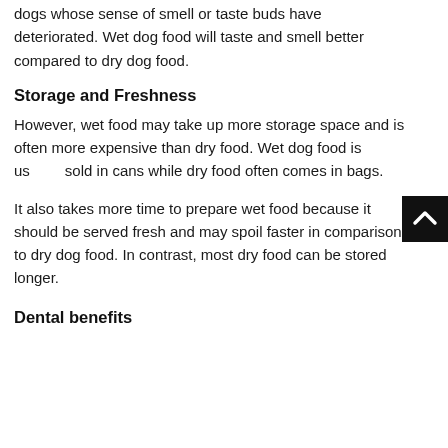dogs whose sense of smell or taste buds have deteriorated. Wet dog food will taste and smell better compared to dry dog food.
Storage and Freshness
However, wet food may take up more storage space and is often more expensive than dry food. Wet dog food is usually sold in cans while dry food often comes in bags.
It also takes more time to prepare wet food because it should be served fresh and may spoil faster in comparison to dry dog food. In contrast, most dry food can be stored longer.
Dental benefits